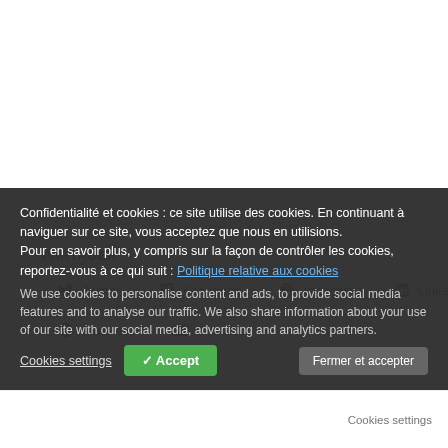PARTAGER :
Twitter
Facebook
Imprimer
LinkedIn
Pinterest
E-mail
Confidentialité et cookies : ce site utilise des cookies. En continuant à naviguer sur ce site, vous acceptez que nous en utilisions. Pour en savoir plus, y compris sur la façon de contrôler les cookies, reportez-vous à ce qui suit : Politique relative aux cookies
We use cookies to personalise content and ads, to provide social media features and to analyse our traffic. We also share information about your use of our site with our social media, advertising and analytics partners.
Fermer et accepter
Cookies settings
✓ Accept
Cookies settings